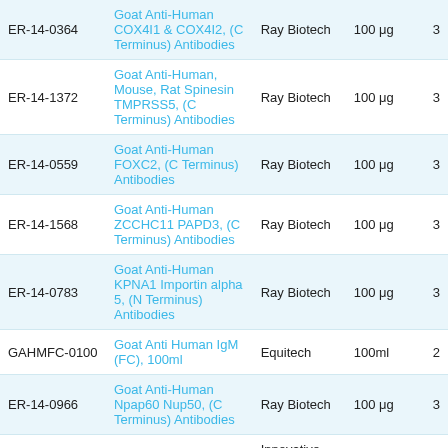| ID | Name | Vendor | Quantity | # |
| --- | --- | --- | --- | --- |
| ER-14-0364 | Goat Anti-Human COX4I1 & COX4I2, (C Terminus) Antibodies | Ray Biotech | 100 μg | 3 |
| ER-14-1372 | Goat Anti-Human, Mouse, Rat Spinesin TMPRSS5, (C Terminus) Antibodies | Ray Biotech | 100 μg | 3 |
| ER-14-0559 | Goat Anti-Human FOXC2, (C Terminus) Antibodies | Ray Biotech | 100 μg | 3 |
| ER-14-1568 | Goat Anti-Human ZCCHC11 PAPD3, (C Terminus) Antibodies | Ray Biotech | 100 μg | 3 |
| ER-14-0783 | Goat Anti-Human KPNA1 Importin alpha 5, (N Terminus) Antibodies | Ray Biotech | 100 μg | 3 |
| GAHMFC-0100 | Goat Anti Human IgM (FC), 100ml | Equitech | 100ml | 2 |
| ER-14-0966 | Goat Anti-Human Npap60 Nup50, (C Terminus) Antibodies | Ray Biotech | 100 μg | 3 |
| IGT-N-500ml-NaHeparin | Goat Plasma 500ml Na Heparin | Innovative Research INC |  | 1 |
| ER-14-1212 | Goat Anti-Human RGS14, (C Terminus) Antibodies | Ray Biotech | 100 μg | 3 |